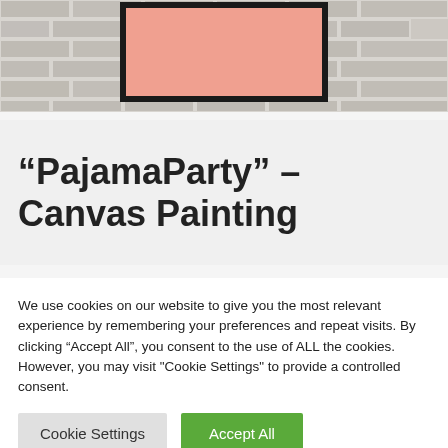[Figure (photo): A framed canvas with a pink/salmon fill hanging on a white brick wall. Only the top portion of the image is visible.]
“PajamaParty” – Canvas Painting
We use cookies on our website to give you the most relevant experience by remembering your preferences and repeat visits. By clicking “Accept All”, you consent to the use of ALL the cookies. However, you may visit "Cookie Settings" to provide a controlled consent.